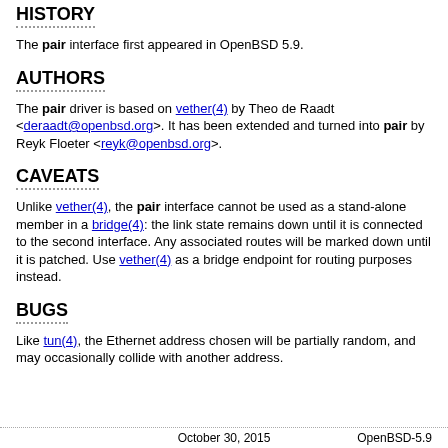HISTORY
The pair interface first appeared in OpenBSD 5.9.
AUTHORS
The pair driver is based on vether(4) by Theo de Raadt <deraadt@openbsd.org>. It has been extended and turned into pair by Reyk Floeter <reyk@openbsd.org>.
CAVEATS
Unlike vether(4), the pair interface cannot be used as a stand-alone member in a bridge(4): the link state remains down until it is connected to the second interface. Any associated routes will be marked down until it is patched. Use vether(4) as a bridge endpoint for routing purposes instead.
BUGS
Like tun(4), the Ethernet address chosen will be partially random, and may occasionally collide with another address.
October 30, 2015                                    OpenBSD-5.9